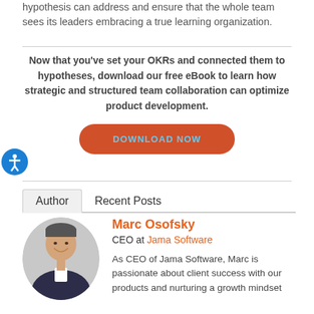hypothesis can address and ensure that the whole team sees its leaders embracing a true learning organization.
Now that you've set your OKRs and connected them to hypotheses, download our free eBook to learn how strategic and structured team collaboration can optimize product development.
[Figure (other): Orange rounded rectangle button labeled DOWNLOAD NOW in blue uppercase text]
[Figure (other): Blue circular accessibility icon with white person figure]
Author   Recent Posts
Marc Osofsky
CEO at Jama Software
[Figure (photo): Headshot of Marc Osofsky, a man in a suit smiling]
As CEO of Jama Software, Marc is passionate about client success with our products and nurturing a growth mindset